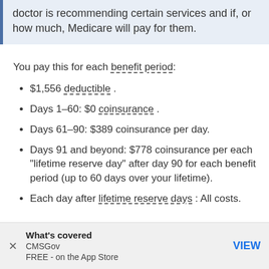doctor is recommending certain services and if, or how much, Medicare will pay for them.
You pay this for each benefit period:
$1,556 deductible .
Days 1–60: $0 coinsurance .
Days 61–90: $389 coinsurance per day.
Days 91 and beyond: $778 coinsurance per each "lifetime reserve day" after day 90 for each benefit period (up to 60 days over your lifetime).
Each day after lifetime reserve days : All costs.
What's covered
CMSGov
FREE - on the App Store